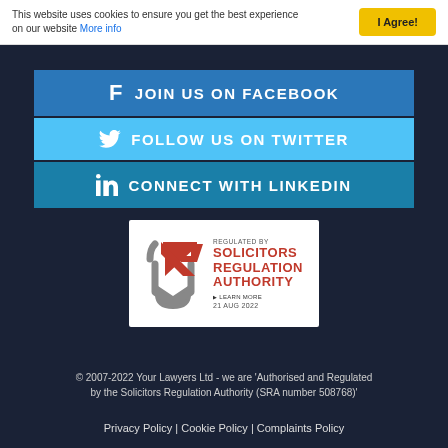This website uses cookies to ensure you get the best experience on our website More info
JOIN US ON FACEBOOK
FOLLOW US ON TWITTER
CONNECT WITH LINKEDIN
[Figure (logo): Regulated by Solicitors Regulation Authority badge with shield logo, LEARN MORE link, dated 21 AUG 2022]
© 2007-2022 Your Lawyers Ltd - we are 'Authorised and Regulated by the Solicitors Regulation Authority (SRA number 508768)'
Privacy Policy | Cookie Policy | Complaints Policy